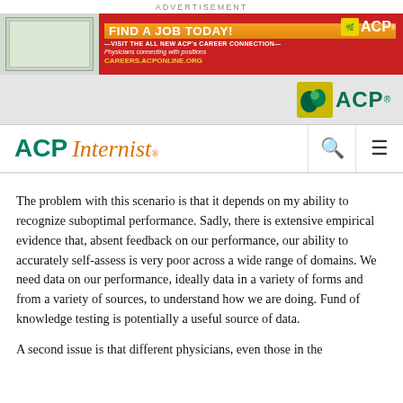ADVERTISEMENT
[Figure (illustration): ACP Career Connection advertisement banner: 'FIND A JOB TODAY! VISIT THE ALL NEW ACP's CAREER CONNECTION — Physicians connecting with positions — CAREERS.ACPONLINE.ORG' with ACP logo]
[Figure (logo): ACP logo (leaf icon + ACP text) in navigation bar]
ACP Internist
The problem with this scenario is that it depends on my ability to recognize suboptimal performance. Sadly, there is extensive empirical evidence that, absent feedback on our performance, our ability to accurately self-assess is very poor across a wide range of domains. We need data on our performance, ideally data in a variety of forms and from a variety of sources, to understand how we are doing. Fund of knowledge testing is potentially a useful source of data.
A second issue is that different physicians, even those in the